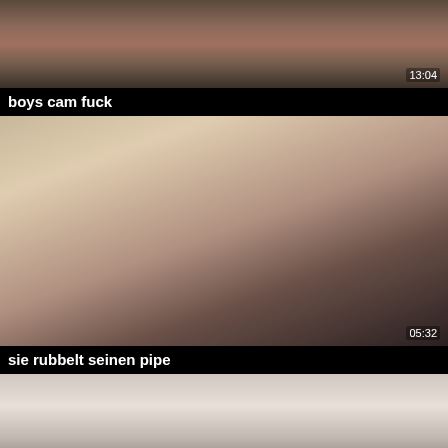[Figure (photo): Video thumbnail showing people on a bed, duration 13:04]
boys cam fuck
[Figure (photo): Video thumbnail showing a woman with blue hair and tattoos, duration 05:32]
sie rubbelt seinen pipe
[Figure (photo): Partial video thumbnail showing people, cropped at bottom of page]